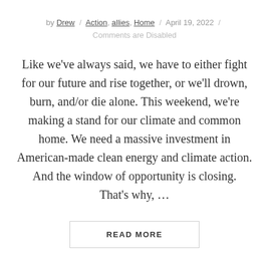by Drew / Action, allies, Home / April 19, 2022 / Comments are Disabled
Like we've always said, we have to either fight for our future and rise together, or we'll drown, burn, and/or die alone. This weekend, we're making a stand for our climate and common home. We need a massive investment in American-made clean energy and climate action. And the window of opportunity is closing. That's why, …
READ MORE